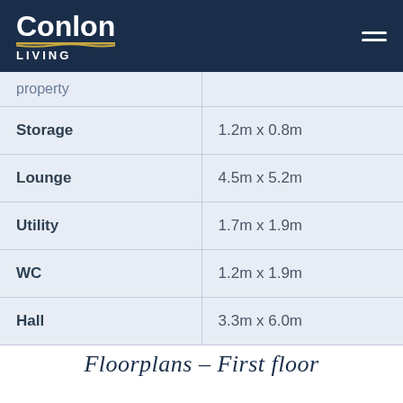Conlon Living
| Room | Dimensions |
| --- | --- |
| Storage | 1.2m x 0.8m |
| Lounge | 4.5m x 5.2m |
| Utility | 1.7m x 1.9m |
| WC | 1.2m x 1.9m |
| Hall | 3.3m x 6.0m |
Floorplans – First floor